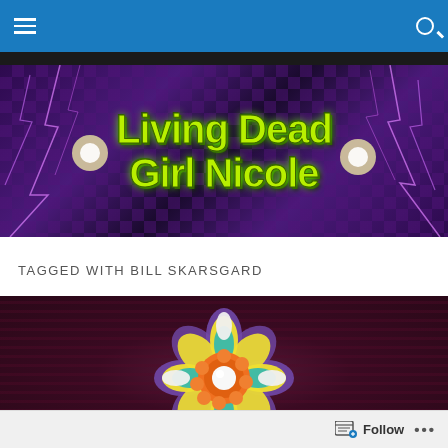Navigation bar with hamburger menu and search icon
[Figure (illustration): Living Dead Girl Nicole banner with green grunge text on purple lightning background]
TAGGED WITH BILL SKARSGARD
[Figure (photo): Colorful clown flower prop on dark purple wavy background]
Follow ...